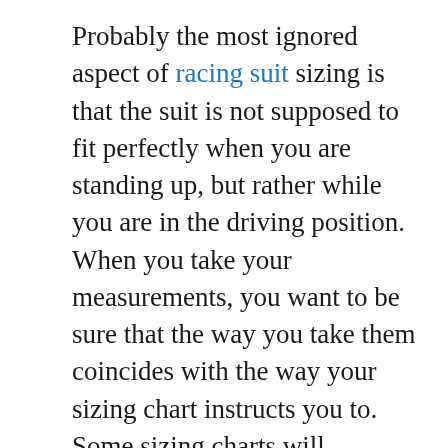Probably the most ignored aspect of racing suit sizing is that the suit is not supposed to fit perfectly when you are standing up, but rather while you are in the driving position. When you take your measurements, you want to be sure that the way you take them coincides with the way your sizing chart instructs you to. Some sizing charts will recommend that you take them while standing up. Others will recommend taking them while sitting down. And almost all of them will recommend you have someone else take the measurements for you, to ensure accuracy.
So, why the fuss about using a sizing chart? Because it will make everything so much easier